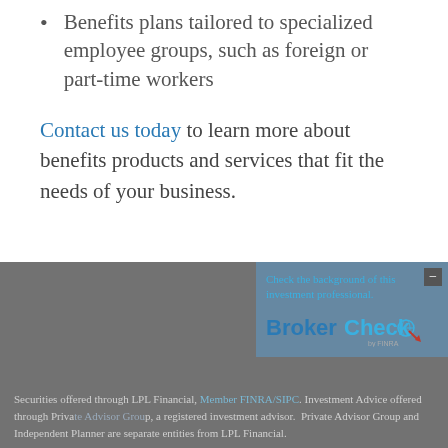Benefits plans tailored to specialized employee groups, such as foreign or part-time workers
Contact us today to learn more about benefits products and services that fit the needs of your business.
Check the background of this investment professional.
[Figure (logo): BrokerCheck by FINRA logo]
Securities offered through LPL Financial, Member FINRA/SIPC. Investment Advice offered through Private Advisor Group, a registered investment advisor.  Private Advisor Group and Independent Planner are separate entities from LPL Financial.